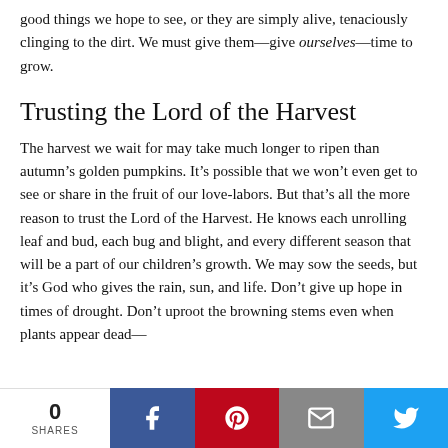good things we hope to see, or they are simply alive, tenaciously clinging to the dirt. We must give them—give ourselves—time to grow.
Trusting the Lord of the Harvest
The harvest we wait for may take much longer to ripen than autumn’s golden pumpkins. It’s possible that we won’t even get to see or share in the fruit of our love-labors. But that’s all the more reason to trust the Lord of the Harvest. He knows each unrolling leaf and bud, each bug and blight, and every different season that will be a part of our children’s growth. We may sow the seeds, but it’s God who gives the rain, sun, and life. Don’t give up hope in times of drought. Don’t uproot the browning stems even when plants appear dead—
0 SHARES | Facebook | Pinterest | Email | Twitter